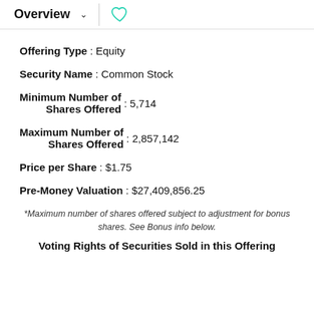Overview
Offering Type : Equity
Security Name : Common Stock
Minimum Number of Shares Offered : 5,714
Maximum Number of Shares Offered : 2,857,142
Price per Share : $1.75
Pre-Money Valuation : $27,409,856.25
*Maximum number of shares offered subject to adjustment for bonus shares. See Bonus info below.
Voting Rights of Securities Sold in this Offering